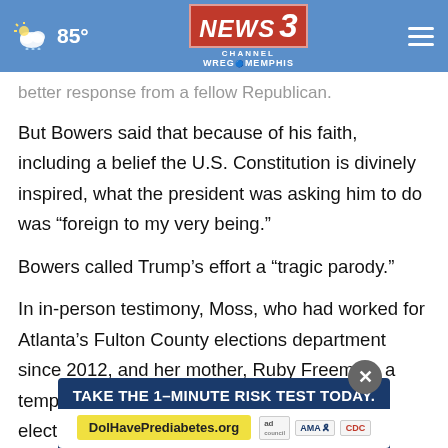85° NEWS 3 CHANNEL WREG MEMPHIS
better response from a fellow Republican.
But Bowers said that because of his faith, including a belief the U.S. Constitution is divinely inspired, what the president was asking him to do was “foreign to my very being.”
Bowers called Trump’s effort a “tragic parody.”
In in-person testimony, Moss, who had worked for Atlanta’s Fulton County elections department since 2012, and her mother, Ruby Freeman, a temporary election worker who spoke earlier to the panel, gripped...
[Figure (screenshot): Advertisement overlay: TAKE THE 1-MINUTE RISK TEST TODAY. DolHavePrediabetes.org with ad council, AMA, CDC logos]